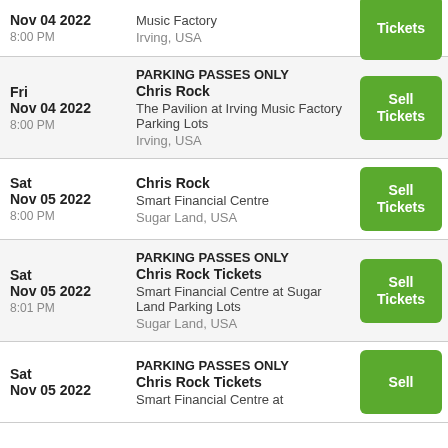Fri Nov 04 2022 8:00 PM | Music Factory | Irving, USA | Tickets
PARKING PASSES ONLY Chris Rock | The Pavilion at Irving Music Factory Parking Lots | Irving, USA | Sell Tickets | Fri Nov 04 2022 8:00 PM
Chris Rock | Smart Financial Centre | Sugar Land, USA | Sell Tickets | Sat Nov 05 2022 8:00 PM
PARKING PASSES ONLY Chris Rock Tickets | Smart Financial Centre at Sugar Land Parking Lots | Sugar Land, USA | Sell Tickets | Sat Nov 05 2022 8:01 PM
PARKING PASSES ONLY Chris Rock Tickets | Smart Financial Centre at ... | Sell Tickets | Sat Nov 05 2022